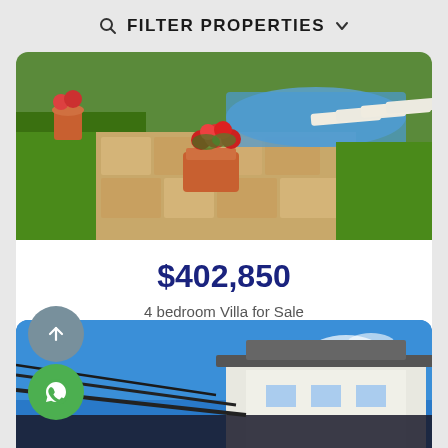FILTER PROPERTIES
[Figure (photo): Outdoor pool area with terracotta flower pot with red flowers, green lawn, pool loungers in background]
$402,850
4 bedroom Villa for Sale
Fethiye
[Figure (photo): Modern villa building exterior viewed from below against blue sky]